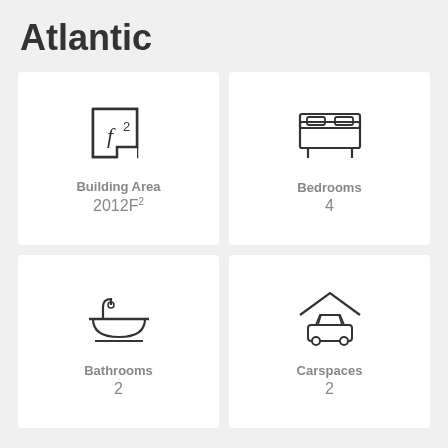Atlantic
[Figure (illustration): Floor plan icon with f squared symbol representing building area]
Building Area
2012F²
[Figure (illustration): Bed icon representing bedrooms]
Bedrooms
4
[Figure (illustration): Bathtub icon representing bathrooms]
Bathrooms
2
[Figure (illustration): Car in garage icon representing carspaces]
Carspaces
2